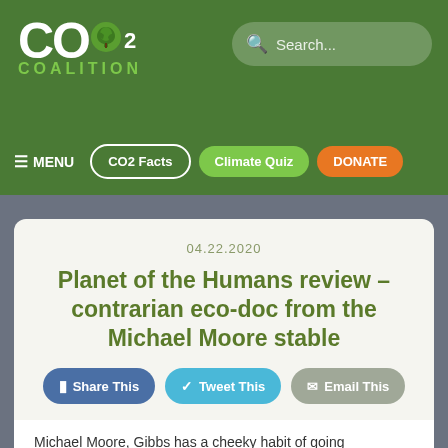CO2 COALITION
Search...
≡ MENU   CO2 Facts   Climate Quiz   DONATE
04.22.2020
Planet of the Humans review – contrarian eco-doc from the Michael Moore stable
Share This   Tweet This   Email This
Michael Moore, Gibbs has a cheeky habit of going